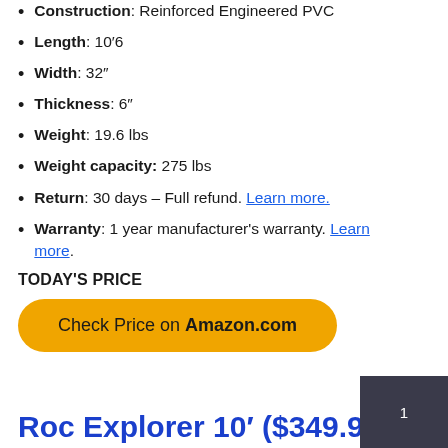Construction: Reinforced Engineered PVC
Length: 10′6
Width: 32″
Thickness: 6″
Weight: 19.6 lbs
Weight capacity: 275 lbs
Return: 30 days – Full refund. Learn more.
Warranty: 1 year manufacturer's warranty. Learn more.
TODAY'S PRICE
Check Price on Amazon.com
Roc Explorer 10′ ($349.95)